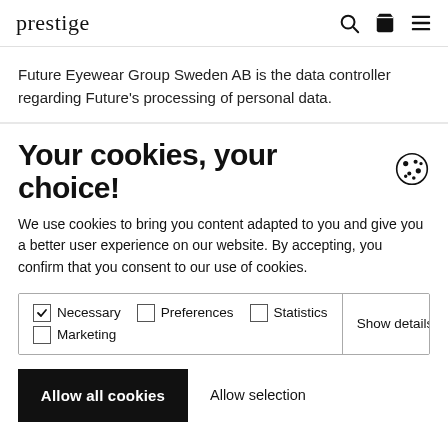prestige
Future Eyewear Group Sweden AB is the data controller regarding Future's processing of personal data.
Your cookies, your choice!
We use cookies to bring you content adapted to you and give you a better user experience on our website. By accepting, you confirm that you consent to our use of cookies.
| Necessary | Preferences | Statistics | Marketing | Show details |
| --- | --- | --- | --- | --- |
Allow all cookies  Allow selection